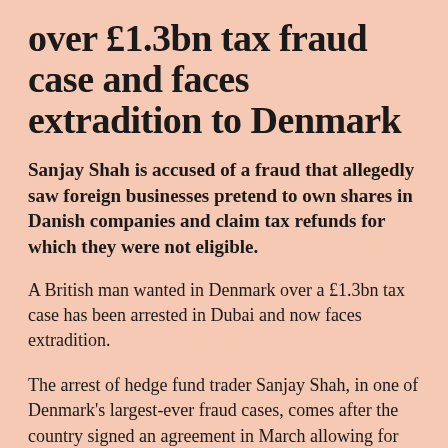over £1.3bn tax fraud case and faces extradition to Denmark
Sanjay Shah is accused of a fraud that allegedly saw foreign businesses pretend to own shares in Danish companies and claim tax refunds for which they were not eligible.
A British man wanted in Denmark over a £1.3bn tax case has been arrested in Dubai and now faces extradition.
The arrest of hedge fund trader Sanjay Shah, in one of Denmark's largest-ever fraud cases, comes after the country signed an agreement in March allowing for extradition there from the